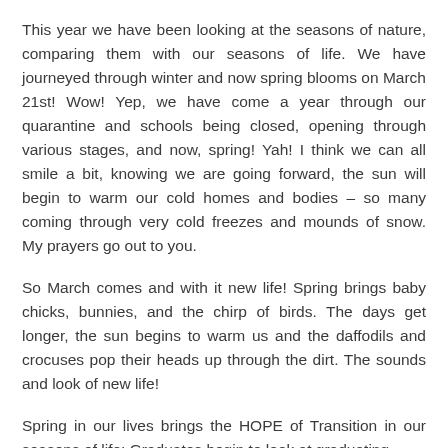This year we have been looking at the seasons of nature, comparing them with our seasons of life. We have journeyed through winter and now spring blooms on March 21st! Wow! Yep, we have come a year through our quarantine and schools being closed, opening through various stages, and now, spring! Yah! I think we can all smile a bit, knowing we are going forward, the sun will begin to warm our cold homes and bodies – so many coming through very cold freezes and mounds of snow. My prayers go out to you.
So March comes and with it new life! Spring brings baby chicks, bunnies, and the chirp of birds. The days get longer, the sun begins to warm us and the daffodils and crocuses pop their heads up through the dirt. The sounds and look of new life!
Spring in our lives brings the HOPE of Transition in our seasons of life: Graduates begin to look at graduating,